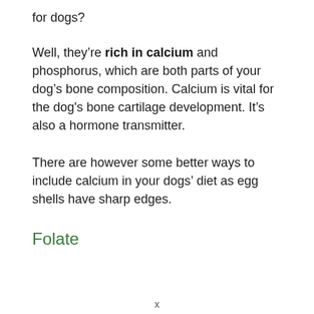for dogs?
Well, they’re rich in calcium and phosphorus, which are both parts of your dog’s bone composition. Calcium is vital for the dog’s bone cartilage development. It’s also a hormone transmitter.
There are however some better ways to include calcium in your dogs’ diet as egg shells have sharp edges.
Folate
x